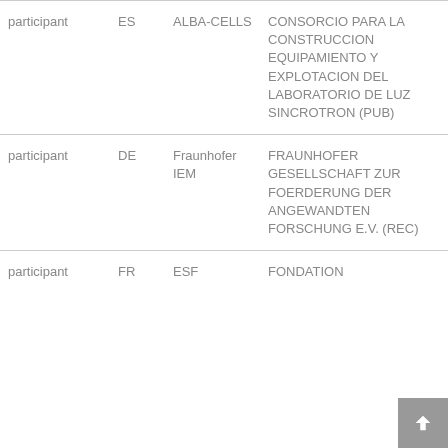| Role | Country | Short Name | Full Name |
| --- | --- | --- | --- |
| participant | ES | ALBA-CELLS | CONSORCIO PARA LA CONSTRUCCION EQUIPAMIENTO Y EXPLOTACION DEL LABORATORIO DE LUZ SINCROTRON (PUB) |
| participant | DE | Fraunhofer IEM | FRAUNHOFER GESELLSCHAFT ZUR FOERDERUNG DER ANGEWANDTEN FORSCHUNG E.V. (REC) |
| participant | FR | ESF | FONDATION |